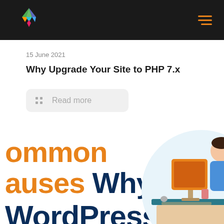Navigation bar with logo and hamburger menu
15 June 2021
Why Upgrade Your Site to PHP 7.x
Read more
ommon auses Why WordPress
[Figure (illustration): 3D illustration of a person sitting at a desk with an orange monitor, viewed from the side, on a light blue circular background]